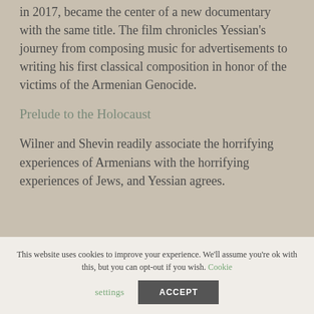in 2017, became the center of a new documentary with the same title. The film chronicles Yessian's journey from composing music for advertisements to writing his first classical composition in honor of the victims of the Armenian Genocide.
Prelude to the Holocaust
Wilner and Shevin readily associate the horrifying experiences of Armenians with the horrifying experiences of Jews, and Yessian agrees.
This website uses cookies to improve your experience. We'll assume you're ok with this, but you can opt-out if you wish. Cookie settings ACCEPT